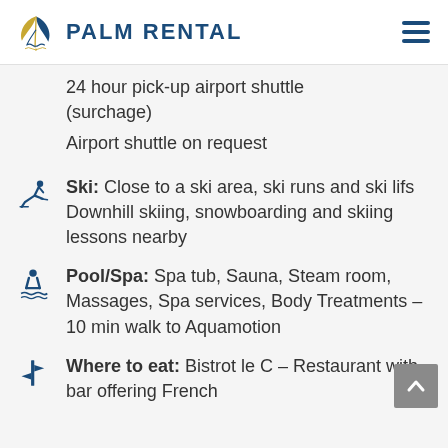PALM RENTAL
24 hour pick-up airport shuttle (surchage)
Airport shuttle on request
Ski: Close to a ski area, ski runs and ski lifs
Downhill skiing, snowboarding and skiing lessons nearby
Pool/Spa: Spa tub, Sauna, Steam room, Massages, Spa services, Body Treatments – 10 min walk to Aquamotion
Where to eat: Bistrot le C – Restaurant with bar offering French